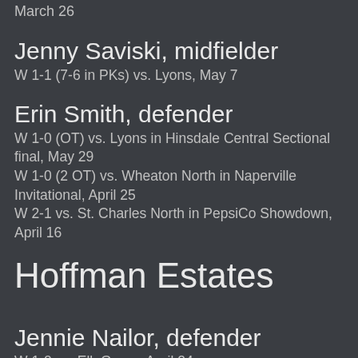March 26
Jenny Saviski, midfielder
W 1-1 (7-6 in PKs) vs. Lyons, May 7
Erin Smith, defender
W 1-0 (OT) vs. Lyons in Hinsdale Central Sectional final, May 29
W 1-0 (2 OT) vs. Wheaton North in Naperville Invitational, April 25
W 2-1 vs. St. Charles North in PepsiCo Showdown, April 16
Hoffman Estates
Jennie Nailor, defender
W 1-0 vs. Elk Grove, April 24